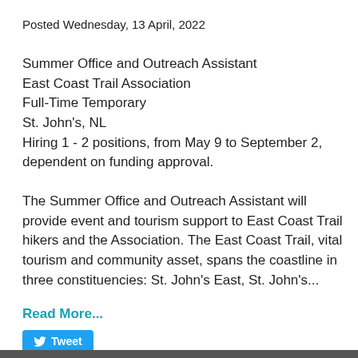Posted Wednesday, 13 April, 2022
Summer Office and Outreach Assistant
East Coast Trail Association
Full-Time Temporary
St. John's, NL
Hiring 1 - 2 positions, from May 9 to September 2, dependent on funding approval.
The Summer Office and Outreach Assistant will provide event and tourism support to East Coast Trail hikers and the Association. The East Coast Trail, vital tourism and community asset, spans the coastline in three constituencies: St. John's East, St. John's...
Read More...
[Figure (other): Tweet button with Twitter bird icon]